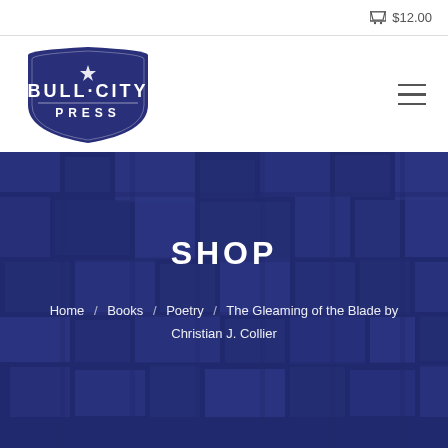$12.00
[Figure (logo): Bull City Press logo — dark navy badge shape with white text reading BULL·CITY and PRESS beneath]
SHOP
Home / Books / Poetry / The Gleaming of the Blade by Christian J. Collier